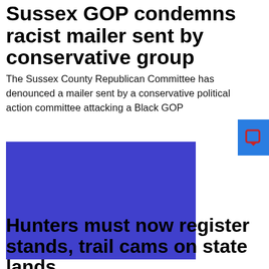Sussex GOP condemns racist mailer sent by conservative group
The Sussex County Republican Committee has denounced a mailer sent by a conservative political action committee attacking a Black GOP
[Figure (photo): Blue rectangular image placeholder]
Hunters must now register stands, trail cams on state lands
Hunters must now register stands, trail cams on state lands